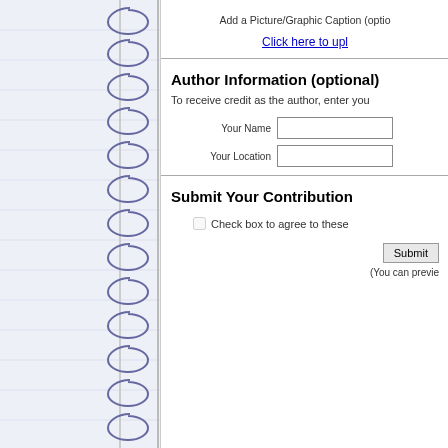[Figure (illustration): Notebook spiral binding on left side, decorative curly spirals drawn in blue-grey on a light lavender background panel]
Add a Picture/Graphic Caption (optio...
Click here to upl...
Author Information (optional)
To receive credit as the author, enter you...
Your Name
Your Location
Submit Your Contribution
Check box to agree to these...
Submit...
(You can previe...